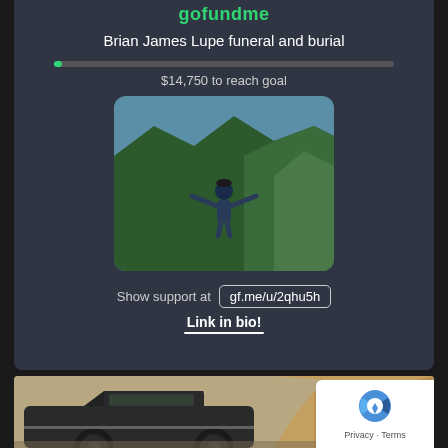gofundme
Brian James Lupe funeral and burial
$14,750 to reach goal
[Figure (photo): Person standing with arms outstretched on a coastal mountain overlook with forested hillsides and ocean in background]
Show support at gf.me/u/2qhu5h
Link in bio!
[Figure (photo): Vintage classic car in foreground with rocky cliff landscape in background, sepia-toned photo]
Privacy · Terms